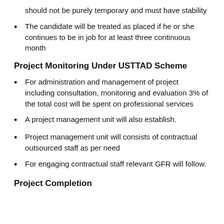should not be purely temporary and must have stability
The candidate will be treated as placed if he or she continues to be in job for at least three continuous month
Project Monitoring Under USTTAD Scheme
For administration and management of project including consultation, monitoring and evaluation 3% of the total cost will be spent on professional services
A project management unit will also establish.
Project management unit will consists of contractual outsourced staff as per need
For engaging contractual staff relevant GFR will follow.
Project Completion